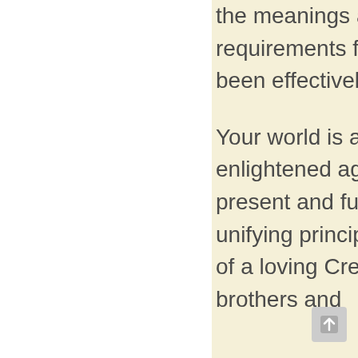the meanings and values of eternal life. The requirements for the intended ascension plan have been effectively met through purification.
Your world is an “elect planet” entering an enlightened age. It is the Will of Christ Michael that present and future generations understand the unifying principle—that all people are the children of a loving Creator, and therefore are you all brothers and